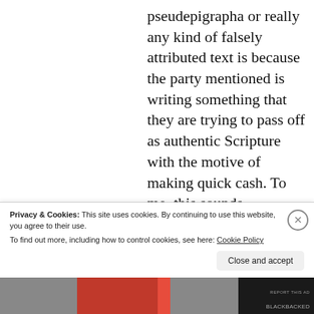pseudepigrapha or really any kind of falsely attributed text is because the party mentioned is writing something that they are trying to pass off as authentic Scripture with the motive of making quick cash. To me, this sounds reminiscent of how many Gnostic sects produced texts claiming to be the secret
Privacy & Cookies: This site uses cookies. By continuing to use this website, you agree to their use.
To find out more, including how to control cookies, see here: Cookie Policy
Close and accept